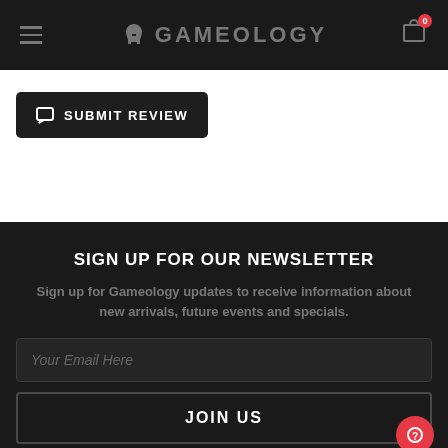GAMEOLOGY
SUBMIT REVIEW
SIGN UP FOR OUR NEWSLETTER
Sign up for Gameology updates to receive information about new arrivals, future events and specials.
Your Email Here
JOIN US
CUSTOMER CARE